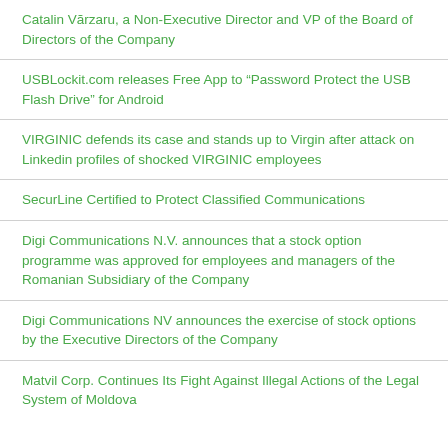Catalin Vărzaru, a Non-Executive Director and VP of the Board of Directors of the Company
USBLockit.com releases Free App to “Password Protect the USB Flash Drive” for Android
VIRGINIC defends its case and stands up to Virgin after attack on Linkedin profiles of shocked VIRGINIC employees
SecurLine Certified to Protect Classified Communications
Digi Communications N.V. announces that a stock option programme was approved for employees and managers of the Romanian Subsidiary of the Company
Digi Communications NV announces the exercise of stock options by the Executive Directors of the Company
Matvil Corp. Continues Its Fight Against Illegal Actions of the Legal System of Moldova